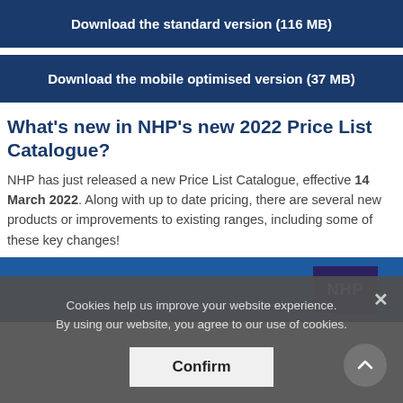Download the standard version (116 MB)
Download the mobile optimised version (37 MB)
What’s new in NHP’s new 2022 Price List Catalogue?
NHP has just released a new Price List Catalogue, effective 14 March 2022. Along with up to date pricing, there are several new products or improvements to existing ranges, including some of these key changes!
[Figure (screenshot): Blue banner area with NHP logo box (dark purple/navy) in top-right corner]
Cookies help us improve your website experience. By using our website, you agree to our use of cookies.
Confirm